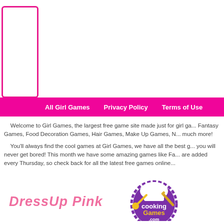[Figure (screenshot): Top navigation area with pink bordered box on left and horizontal pink line border at bottom]
All Girl Games   Privacy Policy   Terms of Use
Welcome to Girl Games, the largest free game site made just for girl ga... Fantasy Games, Food Decoration Games, Hair Games, Make Up Games, N... much more!
You'll always find the cool games at Girl Games, we have all the best g... you will never get bored! This month we have some amazing games like Fa... are added every Thursday, so check back for all the latest free games online...
[Figure (logo): DressUp Pink logo in pink italic text]
[Figure (logo): CookingGames.com logo with chef hat, spoon and purple badge]